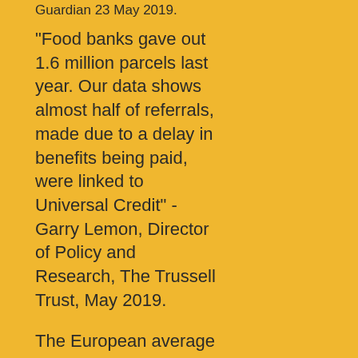Guardian 23 May 2019.
"Food banks gave out 1.6 million parcels last year. Our data shows almost half of referrals, made due to a delay in benefits being paid, were linked to Universal Credit" - Garry Lemon, Director of Policy and Research, The Trussell Trust, May 2019.
The European average for public spending is nearly 49% of GDP. Official figures suggest that the UK's public spending is some 38.5% of GDP. UK public sector borrowing is 1.2% of GDP - data from the Sunday Times, 28 April 2019.
"When Eton and Winchester were established, some 600 years ago, it was written into